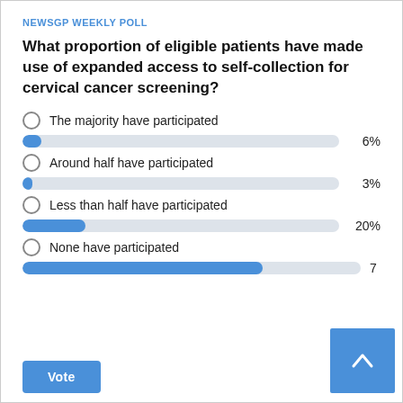NEWSGP WEEKLY POLL
What proportion of eligible patients have made use of expanded access to self-collection for cervical cancer screening?
The majority have participated
[Figure (bar-chart): Poll results]
Around half have participated
[Figure (bar-chart): ]
Less than half have participated
[Figure (bar-chart): ]
None have participated
[Figure (bar-chart): ]